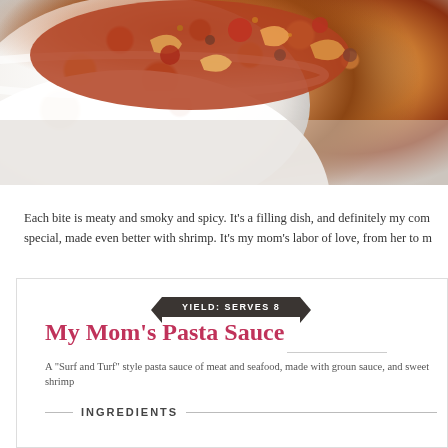[Figure (photo): A white bowl filled with pasta sauce containing shrimp, ground meat, and tomato sauce, photographed from above on a light marble surface]
Each bite is meaty and smoky and spicy. It's a filling dish, and definitely my com special, made even better with shrimp. It's my mom's labor of love, from her to m
YIELD: SERVES 8
My Mom's Pasta Sauce
A "Surf and Turf" style pasta sauce of meat and seafood, made with groun sauce, and sweet shrimp
INGREDIENTS